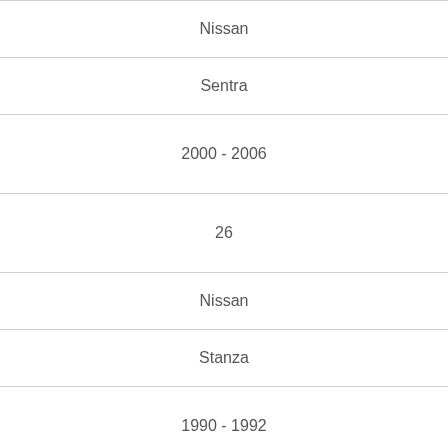| Nissan |
| Sentra |
| 2000 - 2006 |
| 26 |
| Nissan |
| Stanza |
| 1990 - 1992 |
| 27 |
| Suzuki |
| Forenza |
| 2004 - 2008 |
| 28 |